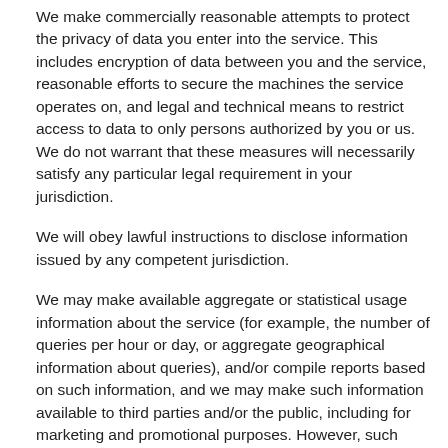We make commercially reasonable attempts to protect the privacy of data you enter into the service. This includes encryption of data between you and the service, reasonable efforts to secure the machines the service operates on, and legal and technical means to restrict access to data to only persons authorized by you or us. We do not warrant that these measures will necessarily satisfy any particular legal requirement in your jurisdiction.
We will obey lawful instructions to disclose information issued by any competent jurisdiction.
We may make available aggregate or statistical usage information about the service (for example, the number of queries per hour or day, or aggregate geographical information about queries), and/or compile reports based on such information, and we may make such information available to third parties and/or the public, including for marketing and promotional purposes. However, such information will not disclose an individual client's service usage details (i.e. data will be aggregated across more than one client) unless we receive that client's permission.